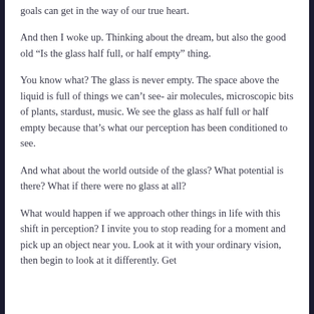goals can get in the way of our true heart.
And then I woke up. Thinking about the dream, but also the good old “Is the glass half full, or half empty” thing.
You know what? The glass is never empty. The space above the liquid is full of things we can’t see- air molecules, microscopic bits of plants, stardust, music. We see the glass as half full or half empty because that’s what our perception has been conditioned to see.
And what about the world outside of the glass? What potential is there? What if there were no glass at all?
What would happen if we approach other things in life with this shift in perception? I invite you to stop reading for a moment and pick up an object near you. Look at it with your ordinary vision, then begin to look at it differently. Get